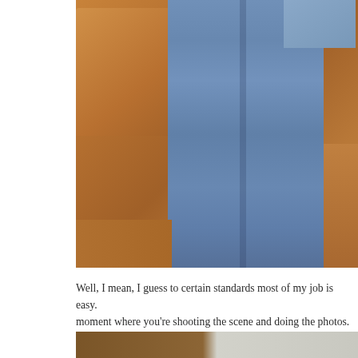[Figure (photo): Close-up photo of a person wearing blue jeans standing in front of a brown leather couch/sofa with an orange-brown cushion. Only the lower torso and legs are visible.]
Well, I mean, I guess to certain standards most of my job is easy. moment where you're shooting the scene and doing the photos.
[Figure (photo): Partial view of another photo at the bottom of the page, showing brown and light-colored surfaces.]